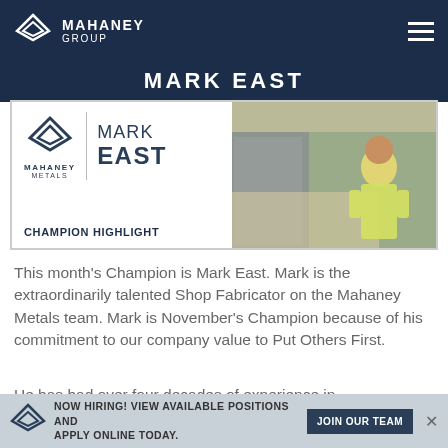Mahaney Group
MARK EAST
[Figure (photo): Champion Highlight card for Mark East featuring Mahaney Metals logo on the left and a photo of Mark East in a yellow shirt in a metal fabrication shop on the right. Text reads CHAMPION HIGHLIGHT.]
This month's Champion is Mark East. Mark is the extraordinarily talented Shop Fabricator on the Mahaney Metals team. Mark is November's Champion because of his commitment to our company value to Put Others First.
He has had over four decades of experience in
NOW HIRING! VIEW AVAILABLE POSITIONS AND APPLY ONLINE TODAY.